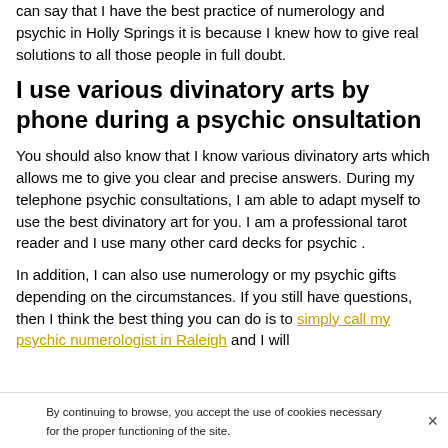can say that I have the best practice of numerology and psychic in Holly Springs it is because I knew how to give real solutions to all those people in full doubt.
I use various divinatory arts by phone during a psychic onsultation
You should also know that I know various divinatory arts which allows me to give you clear and precise answers. During my telephone psychic consultations, I am able to adapt myself to use the best divinatory art for you. I am a professional tarot reader and I use many other card decks for psychic .
In addition, I can also use numerology or my psychic gifts depending on the circumstances. If you still have questions, then I think the best thing you can do is to simply call my psychic numerologist in Raleigh and I will
By continuing to browse, you accept the use of cookies necessary for the proper functioning of the site.